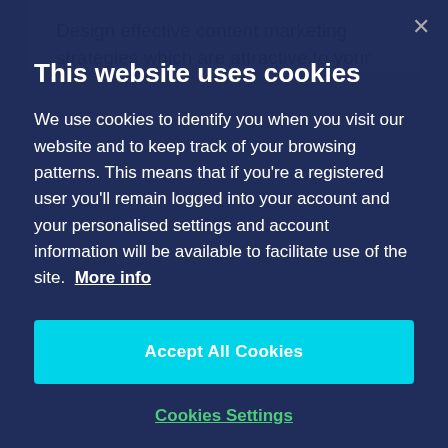Design effective content marketing strategies which are attractive to your...
This website uses cookies
We use cookies to identify you when you visit our website and to keep track of your browsing patterns. This means that if you're a registered user you'll remain logged into your account and your personalised settings and account information will be available to facilitate use of the site. More info
Accept All Cookies
Cookies Settings